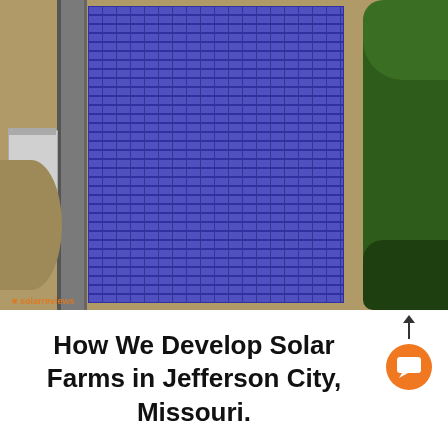[Figure (photo): Aerial satellite view of a large solar farm with rows of blue solar panels arranged in parallel horizontal rows across a tan/brown agricultural field. A road runs along the left edge, a building/warehouse is visible at upper left, green trees border the right side, and a circular crop field is partially visible at lower left. A small watermark/logo appears at bottom left of the photo.]
How We Develop Solar Farms in Jefferson City, Missouri.